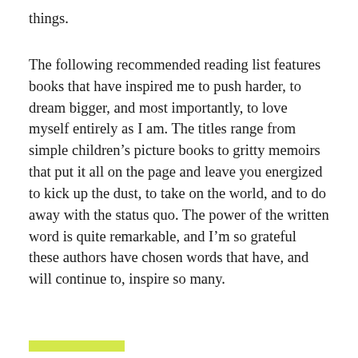things.
The following recommended reading list features books that have inspired me to push harder, to dream bigger, and most importantly, to love myself entirely as I am. The titles range from simple children’s picture books to gritty memoirs that put it all on the page and leave you energized to kick up the dust, to take on the world, and to do away with the status quo. The power of the written word is quite remarkable, and I’m so grateful these authors have chosen words that have, and will continue to, inspire so many.